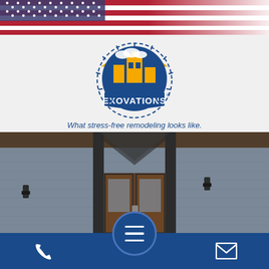[Figure (illustration): American flag banner across the top of the page, partial view with red, white, and blue stripes and stars]
[Figure (logo): Exovations logo: circular badge with blue and gold house/building illustration, blue banner reading EXOVATIONS with registered trademark symbol, surrounded by gear/star border]
What stress-free remodeling looks like.
[Figure (photo): Exterior photo of a modern home with white brick, dark trim, double glass front doors, gabled entrance, and wall-mounted exterior lights, shown with dark blue overlay tint]
[Figure (infographic): Bottom navigation bar with phone icon on left, hamburger menu circle button in center, and email envelope icon on right, all on dark blue background]